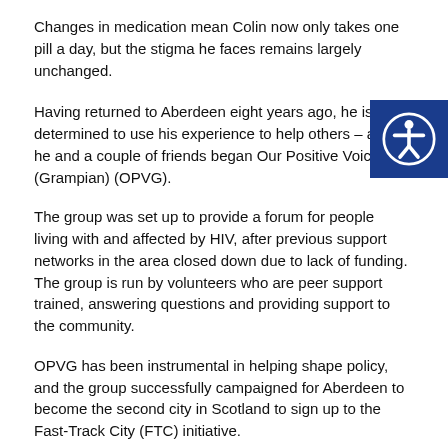Changes in medication mean Colin now only takes one pill a day, but the stigma he faces remains largely unchanged.
Having returned to Aberdeen eight years ago, he is determined to use his experience to help others – after he and a couple of friends began Our Positive Voice (Grampian) (OPVG).
The group was set up to provide a forum for people living with and affected by HIV, after previous support networks in the area closed down due to lack of funding. The group is run by volunteers who are peer support trained, answering questions and providing support to the community.
OPVG has been instrumental in helping shape policy, and the group successfully campaigned for Aberdeen to become the second city in Scotland to sign up to the Fast-Track City (FTC) initiative.
“We really pushed to have Aberdeen become a Fast-Track City –